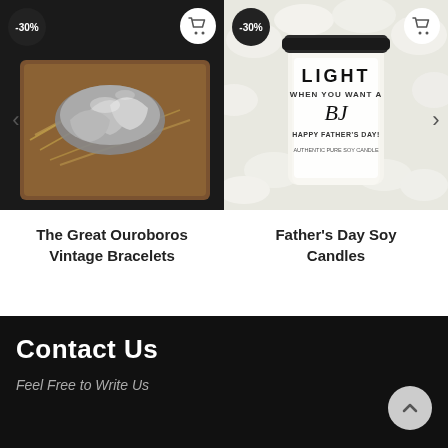[Figure (photo): Product photo of The Great Ouroboros Vintage Bracelets — metallic skull/dragon bracelets in a wooden box with straw packing, -30% badge in top left, cart icon top right]
The Great Ouroboros Vintage Bracelets
[Figure (photo): Product photo of Father's Day Soy Candles — a white jar candle labeled 'LIGHT WHEN YOU WANT A BJ HAPPY FATHER'S DAY!' surrounded by white flower petals, -30% badge in top left, cart icon top right]
Father's Day Soy Candles
Contact Us
Feel Free to Write Us